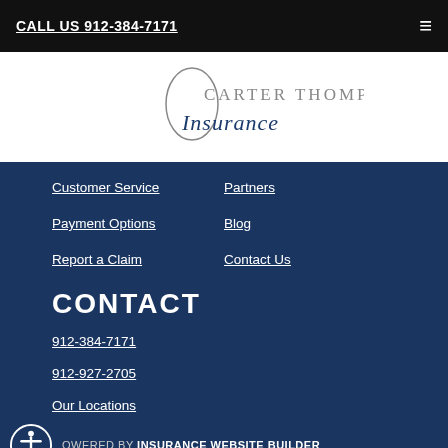CALL US 912-384-7171
[Figure (logo): Carter Thompson, Inc. Insurance logo with stylized oval C and script Insurance text]
Customer Service
Partners
Payment Options
Blog
Report a Claim
Contact Us
CONTACT
912-384-7171
912-927-2705
Our Locations
POWERED BY INSURANCE WEBSITE BUILDER